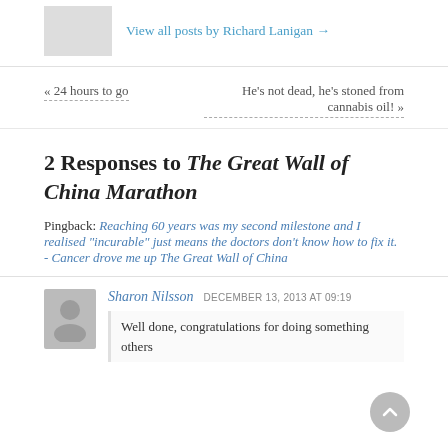View all posts by Richard Lanigan →
« 24 hours to go
He's not dead, he's stoned from cannabis oil! »
2 Responses to The Great Wall of China Marathon
Pingback: Reaching 60 years was my second milestone and I realised "incurable" just means the doctors don't know how to fix it. - Cancer drove me up The Great Wall of China
Sharon Nilsson  DECEMBER 13, 2013 AT 09:19
Well done, congratulations for doing something others